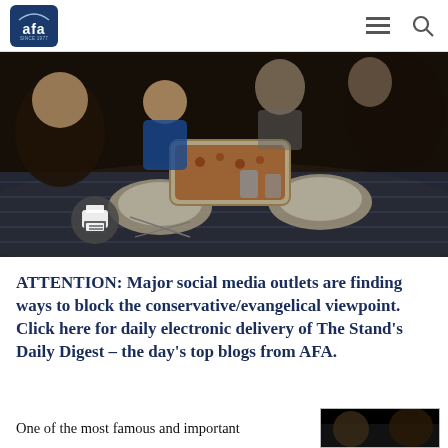AFA - Since 1977 [navigation bar with hamburger menu and search icon]
[Figure (photo): Family gathered around a dinner table with food, dishes, and drinks. A young child is visible. People appear to be praying or sitting together for a meal. Dark, warm-toned photograph. A print button icon overlays the lower-left of the image.]
ATTENTION: Major social media outlets are finding ways to block the conservative/evangelical viewpoint. Click here for daily electronic delivery of The Stand's Daily Digest – the day's top blogs from AFA.
One of the most famous and important